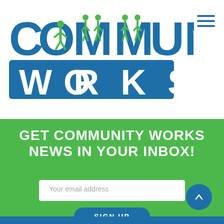[Figure (logo): Community Works logo with person icons in the letters, blue text 'COMMUNITY' and blue rectangle with white text 'W O R K S']
[Figure (other): Hamburger menu icon (three horizontal blue lines) in top-right corner]
GET COMMUNITY WORKS NEWS IN YOUR INBOX!
Your email address
SIGN UP
[Figure (other): Scroll-to-top blue circle button with upward arrow]